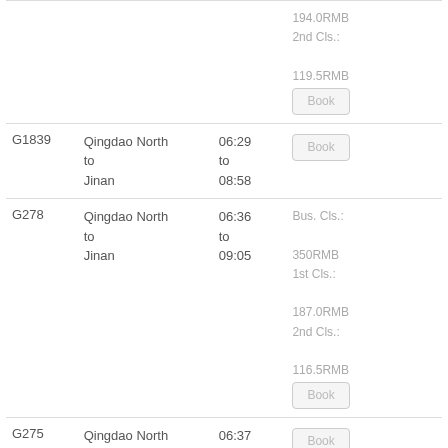| Train | Route | Time | Price/Book |
| --- | --- | --- | --- |
|  |  |  | 194.0RMB
2nd Cls.:
119.5RMB
[Book] |
| G1839 | Qingdao North
to
Jinan | 06:29
to
08:58 | [Book] |
| G278 | Qingdao North
to
Jinan | 06:36
to
09:05 | Bus. Cls.:
350RMB
1st Cls.:
187.0RMB
2nd Cls.:
116.5RMB
[Book] |
| G275 | Qingdao North
to
Jinan | 06:37
to
09:07 | [Book] |
| G281 | Qingdao North
to
Jinan | 06:45
to
09:20 | [Book] |
| G6902 | Qingdao North
to
Jinan East | 06:52
to
08:59 | Bus. Cls.:
469RMB
1st Cls.:
250.0RMB |